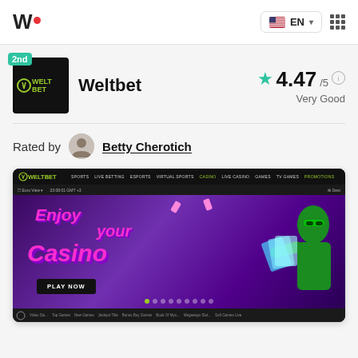W• EN [grid menu]
Weltbet
2nd
4.47/5 Very Good
Rated by Betty Cherotich
[Figure (screenshot): Screenshot of the Weltbet casino website homepage showing navigation bar with Sports, Live Betting, Esports, Virtual Sports, Casino, Live Casino, Games, TV Games, Promotions links, and a banner with 'Enjoy your Casino' text and 'PLAY NOW' button]